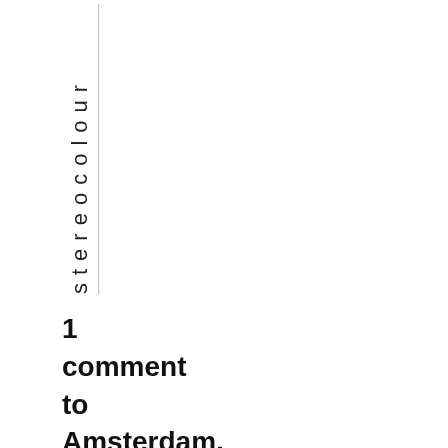stereocolour
1 comment to Amsterdam, 1940, in stereo colour